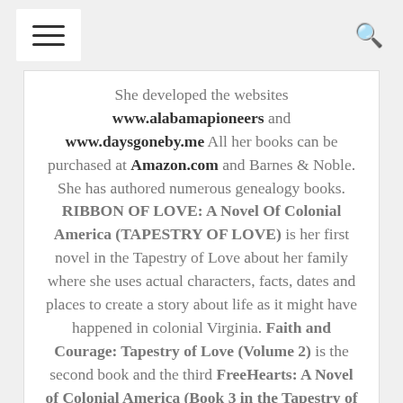[hamburger menu icon] [search icon]
She developed the websites www.alabamapioneers and www.daysgoneby.me All her books can be purchased at Amazon.com and Barnes & Noble. She has authored numerous genealogy books. RIBBON OF LOVE: A Novel Of Colonial America (TAPESTRY OF LOVE) is her first novel in the Tapestry of Love about her family where she uses actual characters, facts, dates and places to create a story about life as it might have happened in colonial Virginia. Faith and Courage: Tapestry of Love (Volume 2) is the second book and the third FreeHearts: A Novel of Colonial America (Book 3 in the Tapestry of